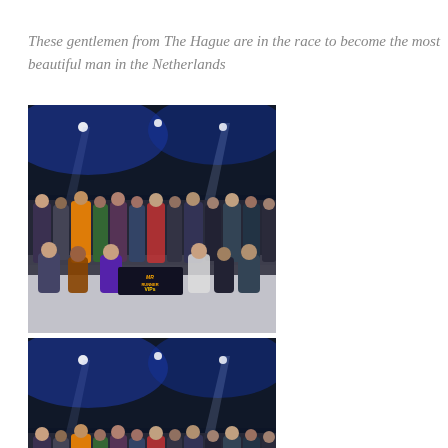These gentlemen from The Hague are in the race to become the most beautiful man in the Netherlands
[Figure (photo): Group photo of many people standing and posing in a large indoor venue with blue stage lighting and spotlight beams. A banner is visible in front of the group.]
[Figure (photo): Second group photo of the same group of people in the same indoor venue with blue stage lighting and spotlight beams. A banner is visible in front of the group.]